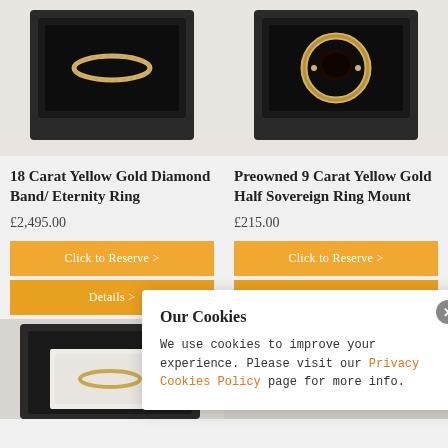[Figure (photo): 18 Carat Yellow Gold Diamond Band/Eternity Ring in a black jewelry box]
[Figure (photo): Preowned 9 Carat Yellow Gold Half Sovereign Ring Mount in a black jewelry box]
18 Carat Yellow Gold Diamond Band/ Eternity Ring
£2,495.00
Click to Reserve >
Details >
Preowned 9 Carat Yellow Gold Half Sovereign Ring Mount
£215.00
Click to Reserve >
Details >
[Figure (photo): Partial view of a jewelry box at bottom left]
Our Cookies
We use cookies to improve your experience. Please visit our Privacy Cookies Policy page for more info.